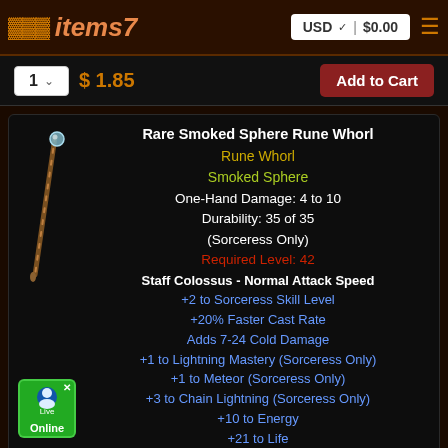items7   USD   $0.00
1   $ 1.85   Add to Cart
[Figure (illustration): Game item staff/wand weapon icon on dark background]
Rare Smoked Sphere Rune Whorl
Rune Whorl
Smoked Sphere
One-Hand Damage: 4 to 10
Durability: 35 of 35
(Sorceress Only)
Required Level: 42
Staff Colossus - Normal Attack Speed
+2 to Sorceress Skill Level
+20% Faster Cast Rate
Adds 7-24 Cold Damage
+1 to Lightning Mastery (Sorceress Only)
+1 to Meteor (Sorceress Only)
+3 to Chain Lightning (Sorceress Only)
+10 to Energy
+21 to Life
Cold Resist +16%